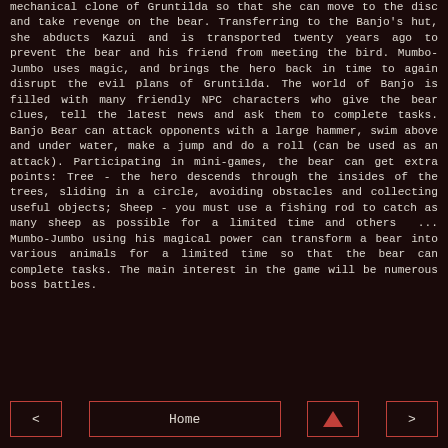mechanical clone of Gruntilda so that she can move to the disc and take revenge on the bear. Transferring to the Banjo's hut, she abducts Kazui and is transported twenty years ago to prevent the bear and his friend from meeting the bird. Mumbo-Jumbo uses magic, and brings the hero back in time to again disrupt the evil plans of Gruntilda. The world of Banjo is filled with many friendly NPC characters who give the bear clues, tell the latest news and ask them to complete tasks. Banjo Bear can attack opponents with a large hammer, swim above and under water, make a jump and do a roll (can be used as an attack). Participating in mini-games, the bear can get extra points: Tree - the hero descends through the insides of the trees, sliding in a circle, avoiding obstacles and collecting useful objects; Sheep - you must use a fishing rod to catch as many sheep as possible for a limited time and others ... Mumbo-Jumbo using his magical power can transform a bear into various animals for a limited time so that the bear can complete tasks. The main interest in the game will be numerous boss battles.
< | Home | ^ | >